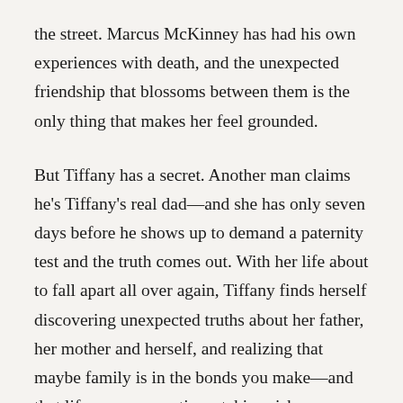the street. Marcus McKinney has had his own experiences with death, and the unexpected friendship that blossoms between them is the only thing that makes her feel grounded.
But Tiffany has a secret. Another man claims he's Tiffany's real dad—and she has only seven days before he shows up to demand a paternity test and the truth comes out. With her life about to fall apart all over again, Tiffany finds herself discovering unexpected truths about her father, her mother and herself, and realizing that maybe family is in the bonds you make—and that life means sometimes taking risks.